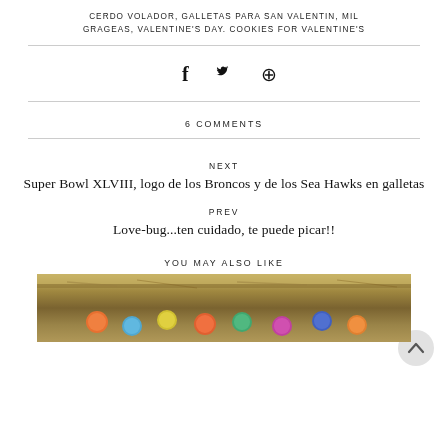CERDO VOLADOR, GALLETAS PARA SAN VALENTIN, MIL GRAGEAS, VALENTINE'S DAY. COOKIES FOR VALENTINE'S
6 COMMENTS
NEXT
Super Bowl XLVIII, logo de los Broncos y de los Sea Hawks en galletas
PREV
Love-bug...ten cuidado, te puede picar!!
YOU MAY ALSO LIKE
[Figure (photo): Bottom portion of a decorative image showing colorful candy/cookie elements on a golden/brown decorative plate or tray]